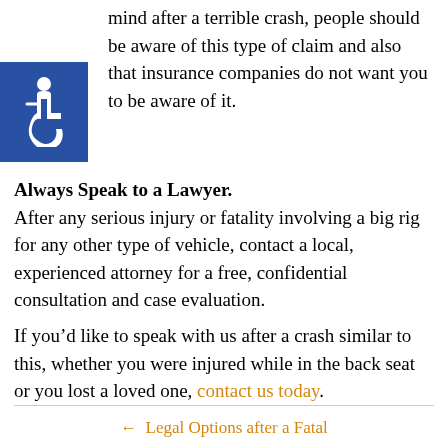mind after a terrible crash, people should be aware of this type of claim and also that insurance companies do not want you to be aware of it.
[Figure (illustration): Blue square with white wheelchair accessibility icon]
Always Speak to a Lawyer.
After any serious injury or fatality involving a big rig for any other type of vehicle, contact a local, experienced attorney for a free, confidential consultation and case evaluation.
If you’d like to speak with us after a crash similar to this, whether you were injured while in the back seat or you lost a loved one, contact us today.
← Legal Options after a Fatal